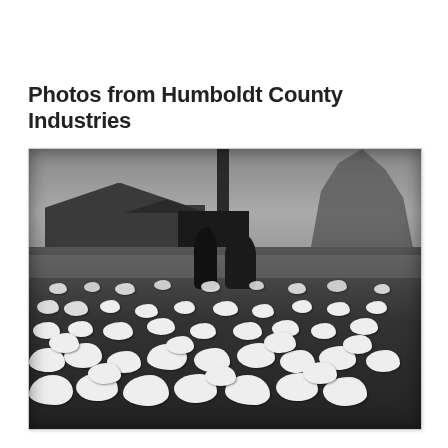Photos from Humboldt County Industries
[Figure (photo): Black and white photograph showing a large flock of white chickens in an outdoor yard. In the background are farm buildings/sheds, a tall wooden pole or post, trees, and two people standing among the birds. The foreground is filled with dozens of white chickens moving about on dark ground.]